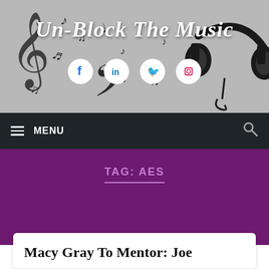[Figure (illustration): Website header banner with gray background, decorative music notes and clef symbols on the left, headphones illustration on the right, social media icons (Facebook, LinkedIn, Twitter, Instagram) in the center, and the site title 'Un-Block The Music' in white cursive script]
Un-Block The Music
≡ MENU
TAG: AES
Macy Gray To Mentor: Joe